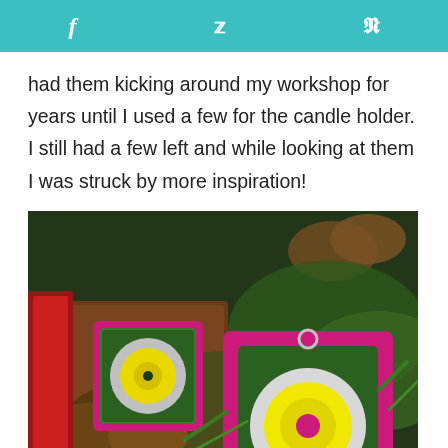f  🐦  p
had them kicking around my workshop for years until I used a few for the candle holder. I still had a few left and while looking at them I was struck by more inspiration!
[Figure (photo): Two pink and green glitter-framed ornaments with concentric circle button decorations (white, yellow, pink/dark center), displayed in a wooden box among pine cones and greenery.]